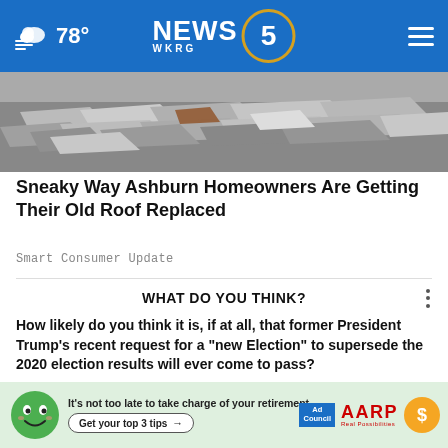NEWS 5 WKRG — 78°
[Figure (photo): Debris and broken roof shingles/rubble pile]
Sneaky Way Ashburn Homeowners Are Getting Their Old Roof Replaced
Smart Consumer Update
WHAT DO YOU THINK?
How likely do you think it is, if at all, that former President Trump's recent request for a "new Election" to supersede the 2020 election results will ever come to pass?
Very likely
Somewhat likely
Not at all likely
[Figure (illustration): AARP advertisement banner: green mascot character, text 'It's not too late to take charge of your retirement. Get your top 3 tips →', Ad Council logo, AARP logo, sun coin graphic]